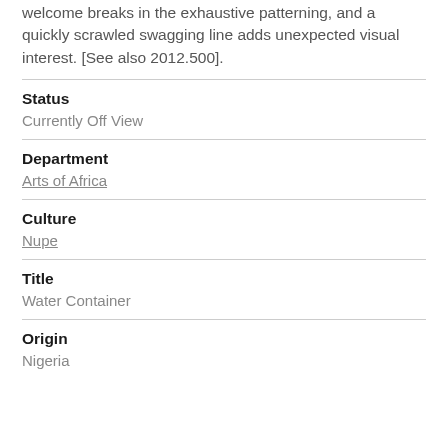welcome breaks in the exhaustive patterning, and a quickly scrawled swagging line adds unexpected visual interest. [See also 2012.500].
Status
Currently Off View
Department
Arts of Africa
Culture
Nupe
Title
Water Container
Origin
Nigeria